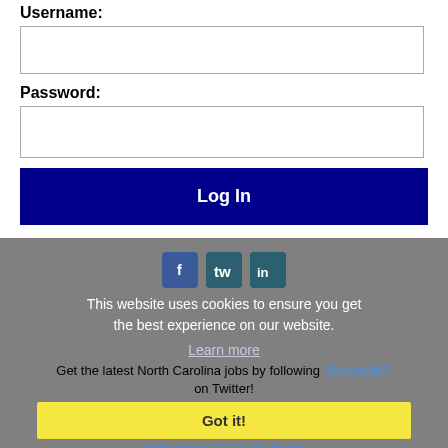Username:
Password:
Log In
Forgot password?
[Figure (screenshot): Social media icons: Facebook, Twitter, LinkedIn overlaid on gray footer area]
This website uses cookies to ensure you get the best experience on our website.
Learn more
Get the latest North Carolina jobs by following @recnetNC on Twitter!
Got it!
Wilmington RSS job feeds